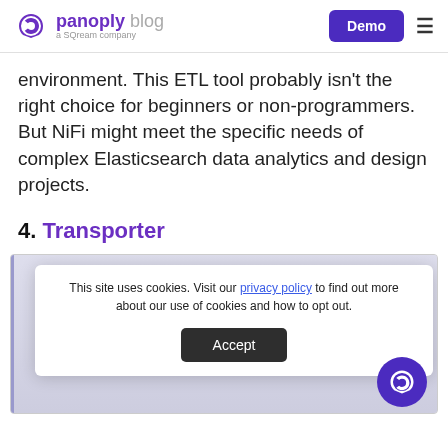panoply blog — a SQream company | Demo
environment. This ETL tool probably isn't the right choice for beginners or non-programmers. But NiFi might meet the specific needs of complex Elasticsearch data analytics and design projects.
4. Transporter
[Figure (screenshot): Screenshot of Transporter tool interface, partially obscured by a cookie consent banner.]
This site uses cookies. Visit our privacy policy to find out more about our use of cookies and how to opt out.
Accept